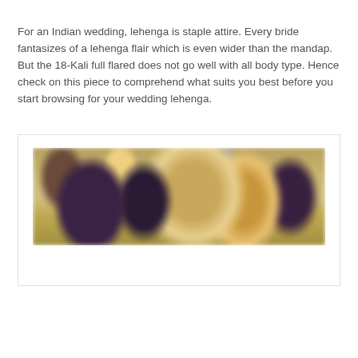For an Indian wedding, lehenga is staple attire. Every bride fantasizes of a lehenga flair which is even wider than the mandap. But the 18-Kali full flared does not go well with all body type. Hence check on this piece to comprehend what suits you best before you start browsing for your wedding lehenga.
[Figure (photo): A blurred photograph of women in colorful Indian attire (lehengas), likely at a wedding celebration, with warm golden and purple tones.]